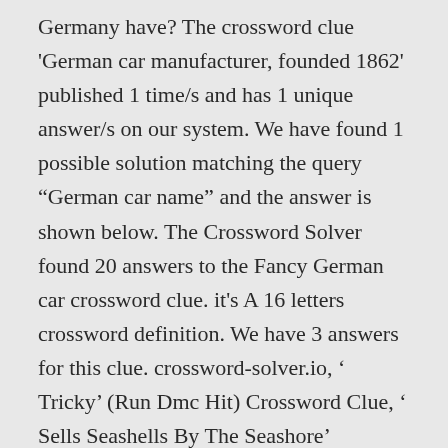Germany have? The crossword clue 'German car manufacturer, founded 1862' published 1 time/s and has 1 unique answer/s on our system. We have found 1 possible solution matching the query “German car name” and the answer is shown below. The Crossword Solver found 20 answers to the Fancy German car crossword clue. it's A 16 letters crossword definition. We have 3 answers for this clue. crossword-solver.io, ‘ Tricky’ (Run Dmc Hit) Crossword Clue, ‘ Sells Seashells By The Seashore’ Crossword Clue, Contrary Greek Ephebe Is Housing Dog Crossword Clue, Ganesha, To Parvati And Shiva Crossword Clue, Easy Number To Multiply By Crossword Clue, Number That’s Its Own Square Root Crossword